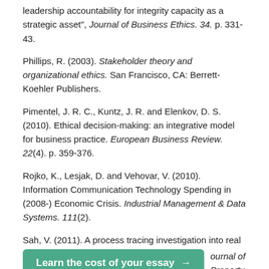leadership accountability for integrity capacity as a strategic asset", Journal of Business Ethics. 34. p. 331-43.
Phillips, R. (2003). Stakeholder theory and organizational ethics. San Francisco, CA: Berrett-Koehler Publishers.
Pimentel, J. R. C., Kuntz, J. R. and Elenkov, D. S. (2010). Ethical decision-making: an integrative model for business practice. European Business Review. 22(4). p. 359-376.
Rojko, K., Lesjak, D. and Vehovar, V. (2010). Information Communication Technology Spending in (2008-) Economic Crisis. Industrial Management & Data Systems. 111(2).
Sah, V. (2011). A process tracing investigation into real ... Journal of Property Investment & Finance. 29(1). pp. 7-18.